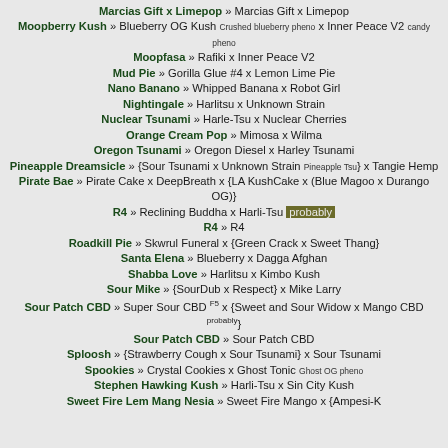Marcias Gift x Limepop » Marcias Gift x Limepop
Moopberry Kush » Blueberry OG Kush Crushed blueberry pheno x Inner Peace V2 candy pheno
Moopfasa » Rafiki x Inner Peace V2
Mud Pie » Gorilla Glue #4 x Lemon Lime Pie
Nano Banano » Whipped Banana x Robot Girl
Nightingale » Harlitsu x Unknown Strain
Nuclear Tsunami » Harle-Tsu x Nuclear Cherries
Orange Cream Pop » Mimosa x Wilma
Oregon Tsunami » Oregon Diesel x Harley Tsunami
Pineapple Dreamsicle » {Sour Tsunami x Unknown Strain Pineapple Tsu} x Tangie Hemp
Pirate Bae » Pirate Cake x DeepBreath x {LA KushCake x (Blue Magoo x Durango OG)}
R4 » Reclining Buddha x Harli-Tsu probably
R4 » R4
Roadkill Pie » Skwrul Funeral x {Green Crack x Sweet Thang}
Santa Elena » Blueberry x Dagga Afghan
Shabba Love » Harlitsu x Kimbo Kush
Sour Mike » {SourDub x Respect} x Mike Larry
Sour Patch CBD » Super Sour CBD F5 x {Sweet and Sour Widow x Mango CBD probably}
Sour Patch CBD » Sour Patch CBD
Sploosh » {Strawberry Cough x Sour Tsunami} x Sour Tsunami
Spookies » Crystal Cookies x Ghost Tonic Ghost OG pheno
Stephen Hawking Kush » Harli-Tsu x Sin City Kush
Sweet Fire Lem Mang Nesia » Sweet Fire Mango x {Ampesi-K